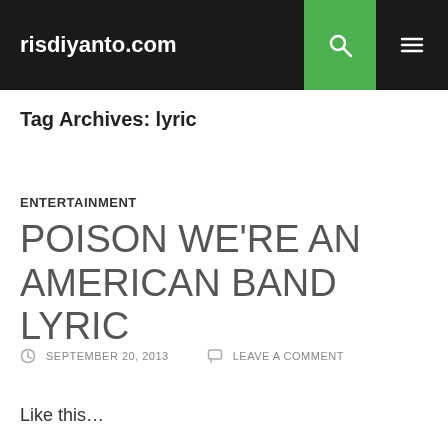risdiyanto.com
Tag Archives: lyric
ENTERTAINMENT
POISON WE'RE AN AMERICAN BAND LYRIC
SEPTEMBER 20, 2013  LEAVE A COMMENT
Like this...